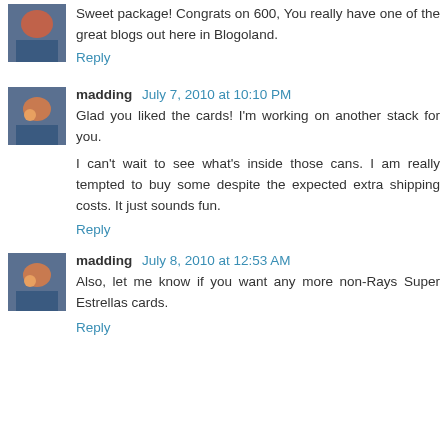Sweet package! Congrats on 600, You really have one of the great blogs out here in Blogoland.
Reply
madding July 7, 2010 at 10:10 PM
Glad you liked the cards! I'm working on another stack for you.

I can't wait to see what's inside those cans. I am really tempted to buy some despite the expected extra shipping costs. It just sounds fun.
Reply
madding July 8, 2010 at 12:53 AM
Also, let me know if you want any more non-Rays Super Estrellas cards.
Reply